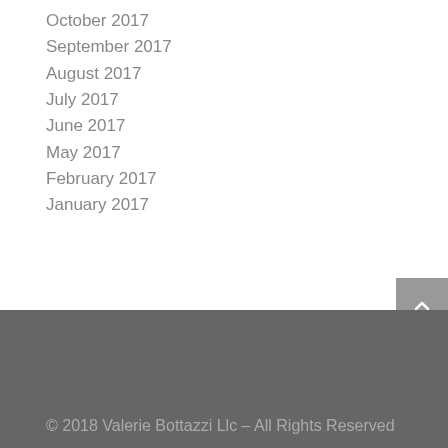October 2017
September 2017
August 2017
July 2017
June 2017
May 2017
February 2017
January 2017
© 2018 Valerie Bottazzi Llc – All Rights Reserved